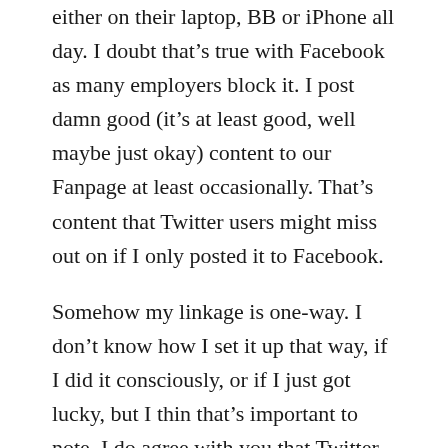either on their laptop, BB or iPhone all day. I doubt that's true with Facebook as many employers block it. I post damn good (it's at least good, well maybe just okay) content to our Fanpage at least occasionally. That's content that Twitter users might miss out on if I only posted it to Facebook.
Somehow my linkage is one-way. I don't know how I set it up that way, if I did it consciously, or if I just got lucky, but I thin that's important to note. I do agree with you that Twitter is a more active medium and it's a place where it's okay for me to send updates of the score of the football game. Facebook is not an appropriate medium for that. That's annoying.
Now, the key is to be on both in order to respond. Yes, I may just be using Facebook to push content to Twitter